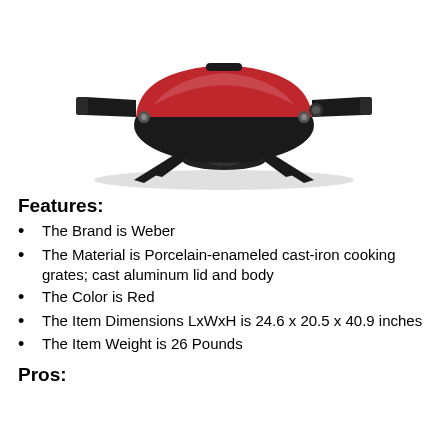[Figure (photo): Weber red portable gas grill with black cast aluminum body, folding side tables, and spider-style legs viewed from the front]
Features:
The Brand is Weber
The Material is Porcelain-enameled cast-iron cooking grates; cast aluminum lid and body
The Color is Red
The Item Dimensions LxWxH is 24.6 x 20.5 x 40.9 inches
The Item Weight is 26 Pounds
Pros: